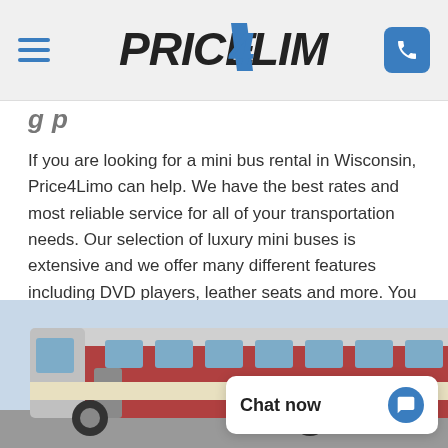Price4Limo — navigation header with hamburger menu and phone button
g p (partial heading, cropped)
If you are looking for a mini bus rental in Wisconsin, Price4Limo can help. We have the best rates and most reliable service for all of your transportation needs. Our selection of luxury mini buses is extensive and we offer many different features including DVD players, leather seats and more. You can trust Price4Limo to provide the safest and most comfortable mini bus rental experience possible.
[Figure (photo): A mini bus / coach bus photographed from the front-side angle, showing the dark red and cream/silver exterior with windows.]
Chat now